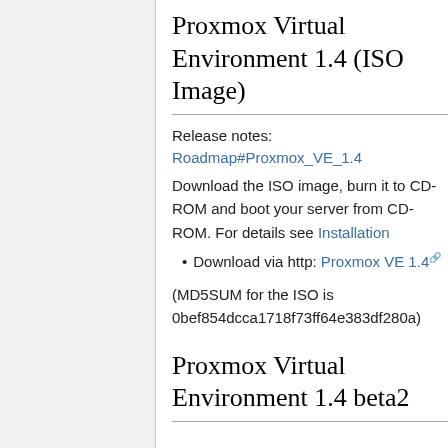Proxmox Virtual Environment 1.4 (ISO Image)
Release notes:
Roadmap#Proxmox_VE_1.4
Download the ISO image, burn it to CD-ROM and boot your server from CD-ROM. For details see Installation
Download via http: Proxmox VE 1.4
(MD5SUM for the ISO is 0bef854dcca1718f73ff64e383df280a)
Proxmox Virtual Environment 1.4 beta2